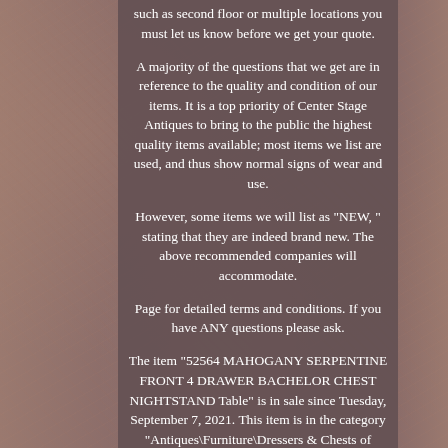such as second floor or multiple locations you must let us know before we get your quote.
A majority of the questions that we get are in reference to the quality and condition of our items. It is a top priority of Center Stage Antiques to bring to the public the highest quality items available; most items we list are used, and thus show normal signs of wear and use.
However, some items we will list as "NEW, " stating that they are indeed brand new. The above recommended companies will accommodate.
Page for detailed terms and conditions. If you have ANY questions please ask.
The item "52564 MAHOGANY SERPENTINE FRONT 4 DRAWER BACHELOR CHEST NIGHTSTAND Table" is in sale since Tuesday, September 7, 2021. This item is in the category "Antiques\Furniture\Dressers & Chests of Drawers". The seller is "centerstageantiques" and is located in